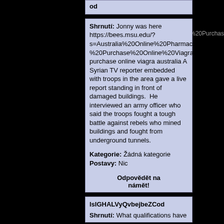od
Shrnutí: Jonny was here https://bees.msu.edu/?s=Australia%20Online%20Pharmacy%20%E2%AD%90%20%20Purchase%20Online%20Viagra%20Australia purchase online viagra australia A Syrian TV reporter embedded with troops in the area gave a live report standing in front of damaged buildings. He interviewed an army officer who said the troops fought a tough battle against rebels who mined buildings and fought from underground tunnels.
Kategorie: Žádná kategorie
Postavy: Nic
Odpovědět na námět!
lsIGHALVyQvbejbeZCod
Shrnutí: What qualifications have